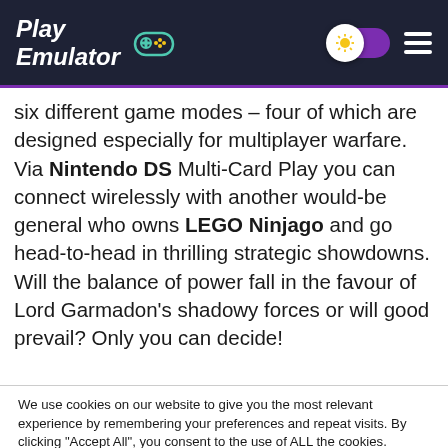Play Emulator
six different game modes – four of which are designed especially for multiplayer warfare. Via Nintendo DS Multi-Card Play you can connect wirelessly with another would-be general who owns LEGO Ninjago and go head-to-head in thrilling strategic showdowns. Will the balance of power fall in the favour of Lord Garmadon's shadowy forces or will good prevail? Only you can decide!
We use cookies on our website to give you the most relevant experience by remembering your preferences and repeat visits. By clicking "Accept All", you consent to the use of ALL the cookies. However, you may visit "Cookie Settings" to provide a controlled consent.